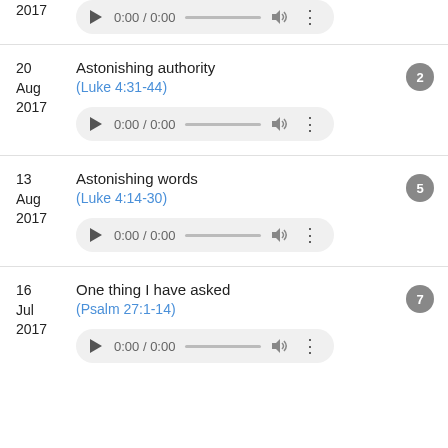2017 [audio player 0:00 / 0:00]
20 Aug 2017 — Astonishing authority (Luke 4:31-44) [audio player 0:00 / 0:00] badge: 2
13 Aug 2017 — Astonishing words (Luke 4:14-30) [audio player 0:00 / 0:00] badge: 5
16 Jul 2017 — One thing I have asked (Psalm 27:1-14) [audio player 0:00 / 0:00] badge: 7